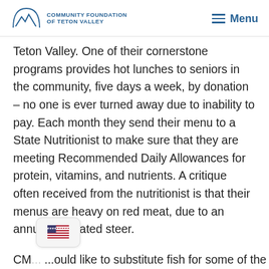COMMUNITY FOUNDATION OF TETON VALLEY | Menu
Teton Valley. One of their cornerstone programs provides hot lunches to seniors in the community, five days a week, by donation – no one is ever turned away due to inability to pay. Each month they send their menu to a State Nutritionist to make sure that they are meeting Recommended Daily Allowances for protein, vitamins, and nutrients. A critique often received from the nutritionist is that their menus are heavy on red meat, due to an annually donated steer.
CM... ...ould like to substitute fish for some of the